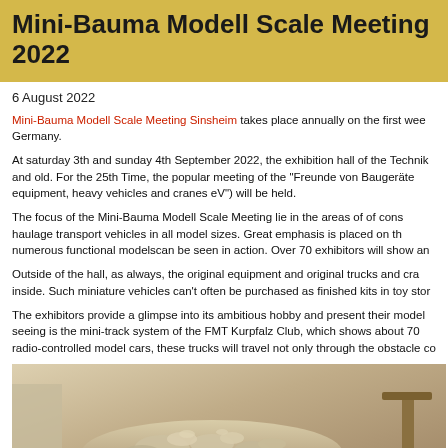Mini-Bauma Modell Scale Meeting 2022
6 August 2022
Mini-Bauma Modell Scale Meeting Sinsheim takes place annually on the first wee... Germany.
At saturday 3th and sunday 4th September 2022, the exhibition hall of the Technik... and old. For the 25th Time, the popular meeting of the "Freunde von Baugeräte... equipment, heavy vehicles and cranes eV") will be held.
The focus of the Mini-Bauma Modell Scale Meeting lie in the areas of of cons... haulage transport vehicles in all model sizes. Great emphasis is placed on th... numerous functional modelscan be seen in action. Over 70 exhibitors will show an...
Outside of the hall, as always, the original equipment and original trucks and cra... inside. Such miniature vehicles can't often be purchased as finished kits in toy stor...
The exhibitors provide a glimpse into its ambitious hobby and present their model... seeing is the mini-track system of the FMT Kurpfalz Club, which shows about 70... radio-controlled model cars, these trucks will travel not only through the obstacle co...
[Figure (photo): Photo of a construction site diorama/model showing rubble, debris, and construction equipment including what appears to be a crane or excavator arm, part of the Mini-Bauma model scale meeting display.]